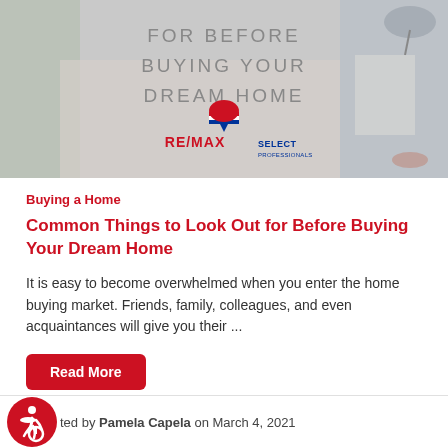[Figure (photo): Banner image with text overlay reading 'FOR BEFORE BUYING YOUR DREAM HOME' with RE/MAX SELECT PROFESSIONALS logo, showing hands holding a document/checklist with a home in the background]
Buying a Home
Common Things to Look Out for Before Buying Your Dream Home
It is easy to become overwhelmed when you enter the home buying market. Friends, family, colleagues, and even acquaintances will give you their ...
Read More
ted by Pamela Capela on March 4, 2021